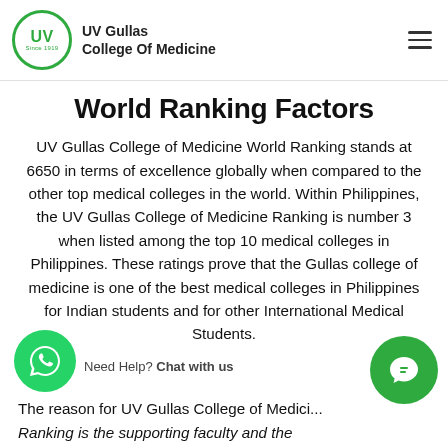UV Gullas College Of Medicine
World Ranking Factors
UV Gullas College of Medicine World Ranking stands at 6650 in terms of excellence globally when compared to the other top medical colleges in the world. Within Philippines, the UV Gullas College of Medicine Ranking is number 3 when listed among the top 10 medical colleges in Philippines. These ratings prove that the Gullas college of medicine is one of the best medical colleges in Philippines for Indian students and for other International Medical Students.
Need Help? Chat with us
The reason for UV Gullas College of Medicine Ranking is the supporting faculty and the